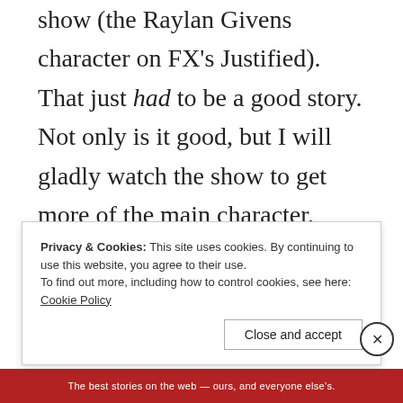show (the Raylan Givens character on FX's Justified). That just had to be a good story. Not only is it good, but I will gladly watch the show to get more of the main character.
Privacy & Cookies: This site uses cookies. By continuing to use this website, you agree to their use. To find out more, including how to control cookies, see here: Cookie Policy
Close and accept
The best stories on the web — ours, and everyone else's.